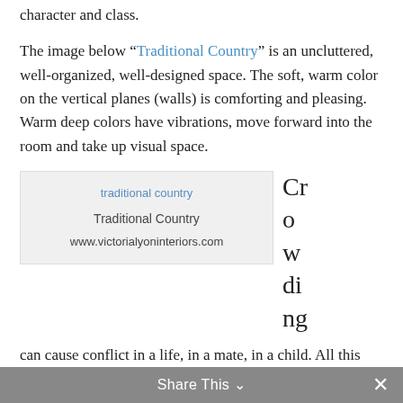character and class.
The image below “Traditional Country” is an uncluttered, well-organized, well-designed space. The soft, warm color on the vertical planes (walls) is comforting and pleasing. Warm deep colors have vibrations, move forward into the room and take up visual space.
[Figure (photo): Image placeholder for 'traditional country' with caption 'Traditional Country' and URL www.victorialyoninteriors.com]
Traditional Country
www.victorialyoninteriors.com
Crowding can cause conflict in a life, in a mate, in a child. All this talk about beauty, function, good design, what does it mean? If you like lots of stuff around you, okay. But how is it arranged? Is there order? Is there negative space, meaning quiet space? A place of peace?
Share This